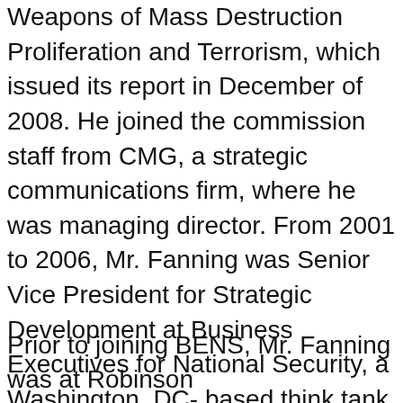Weapons of Mass Destruction Proliferation and Terrorism, which issued its report in December of 2008. He joined the commission staff from CMG, a strategic communications firm, where he was managing director. From 2001 to 2006, Mr. Fanning was Senior Vice President for Strategic Development at Business Executives for National Security, a Washington, DC- based think tank, where he was in charge of international programs and all regional office operations in six cities across the country. He traveled to more than 30 countries, mostly in Africa, the Middle East and Europe, including multiple trips to Iraq and Afghanistan.
Prior to joining BENS, Mr. Fanning was at Robinson